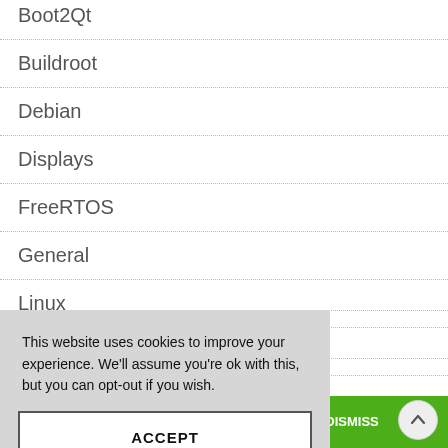Boot2Qt
Buildroot
Debian
Displays
FreeRTOS
General
Linux
Mendel
This website uses cookies to improve your experience. We'll assume you're ok with this, but you can opt-out if you wish.
ACCEPT
e website is inaccurate. Contact us for availability. DISMISS